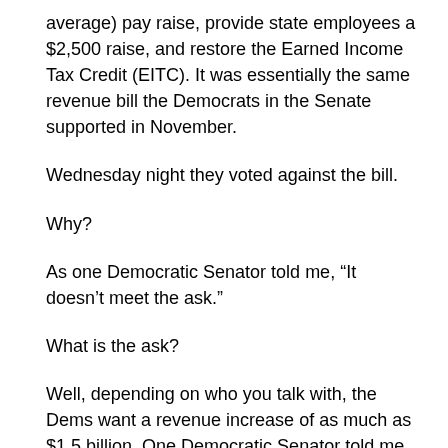average) pay raise, provide state employees a $2,500 raise, and restore the Earned Income Tax Credit (EITC). It was essentially the same revenue bill the Democrats in the Senate supported in November.
Wednesday night they voted against the bill.
Why?
As one Democratic Senator told me, “It doesn’t meet the ask.”
What is the ask?
Well, depending on who you talk with, the Dems want a revenue increase of as much as $1.5 billion. One Democratic Senator told me that they couldn’t support the bill because the Oklahoma Educators Association (OEA) doesn’t want them to. After all, the OEA is the one making the ask. This is the same OEA that joined House Republicans a couple months ago at a press conference to support essentially the same plan as being good for education.